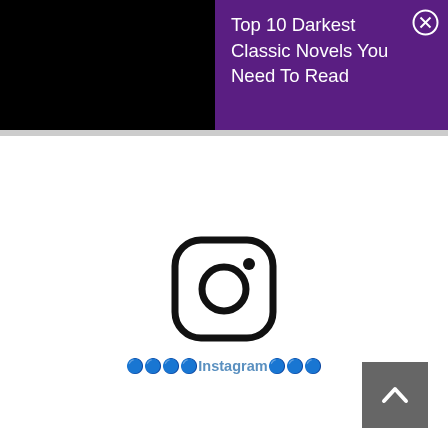Top 10 Darkest Classic Novels You Need To Read
[Figure (logo): Instagram logo icon - camera outline in rounded square]
🔵🔵🔵🔵Instagram🔵🔵🔵